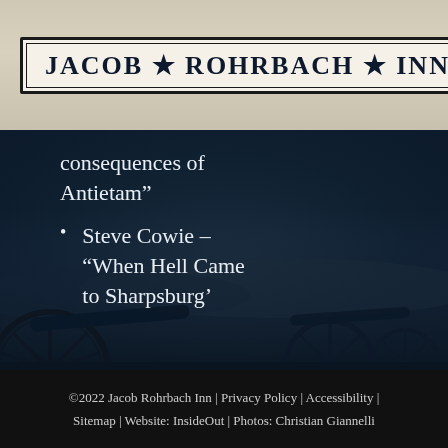[Figure (logo): Jacob Rohrbach Inn logo in bordered box with stars between words]
consequences of Antietam”
Steve Cowie – “When Hell Came to Sharpsburg’
[Figure (photo): Dark blue-tinted battlefield photo with cannon silhouettes in foreground]
©2022 Jacob Rohrbach Inn | Privacy Policy | Accessibility | Sitemap | Website: InsideOut | Photos: Christian Giannelli